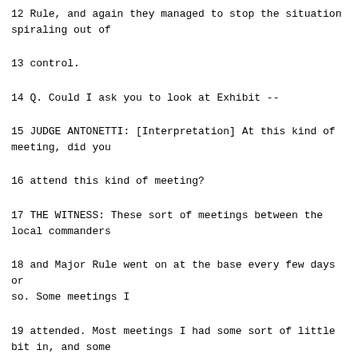12 Rule, and again they managed to stop the situation spiraling out of
13 control.
14 Q. Could I ask you to look at Exhibit --
15 JUDGE ANTONETTI: [Interpretation] At this kind of meeting, did you
16 attend this kind of meeting?
17 THE WITNESS: These sort of meetings between the local commanders
18 and Major Rule went on at the base every few days or so. Some meetings I
19 attended. Most meetings I had some sort of little bit in, and some
20 meetings I had no attendance in at all.
21 JUDGE ANTONETTI: [Interpretation] In those cases where you did
22 attend the meeting, what was your feeling about it? The local commanders
23 who were there, did these people have a -- personally have room to